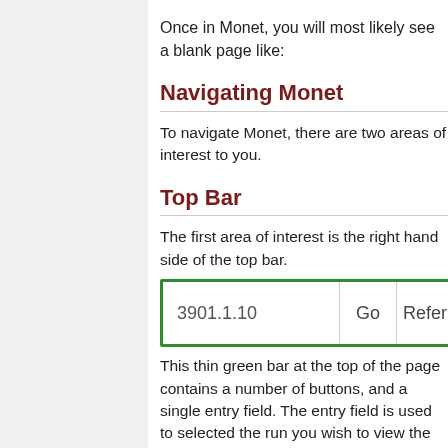Once in Monet, you will most likely see a blank page like:
Navigating Monet
To navigate Monet, there are two areas of interest to you.
Top Bar
The first area of interest is the right hand side of the top bar.
[Figure (screenshot): Screenshot of Monet top bar showing an entry field with '3901.1.10', a 'Go' button, and a 'Refer' button, all outlined with a green border.]
This thin green bar at the top of the page contains a number of buttons, and a single entry field. The entry field is used to selected the run you wish to view the plots for, and should auto fill with the most recent run when you open Monet.